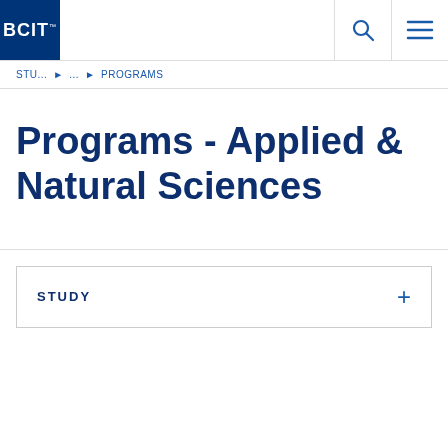[Figure (logo): BCIT logo — blue square with white bold text BCIT and trademark symbol]
STU... ▶ ... ▶ PROGRAMS
Programs - Applied & Natural Sciences
STUDY